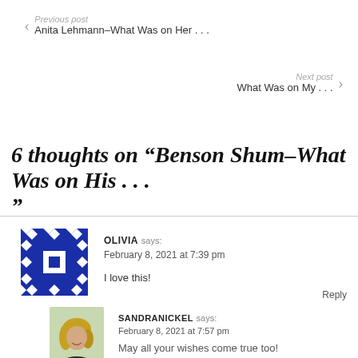Previous post
Anita Lehmann–What Was on Her . . .
Next post
What Was on My . . .
6 thoughts on “Benson Shum–What Was on His . . . ”
OLIVIA says:
February 8, 2021 at 7:39 pm
I love this!
Reply
SANDRANICKEL says:
February 8, 2021 at 7:57 pm
May all your wishes come true too!
Reply